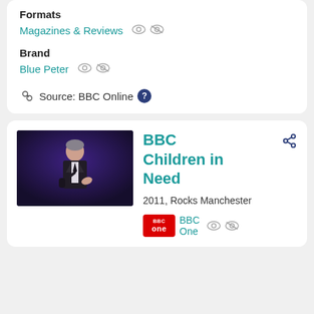Formats
Magazines & Reviews
Brand
Blue Peter
Source: BBC Online
BBC Children in Need
2011, Rocks Manchester
BBC One